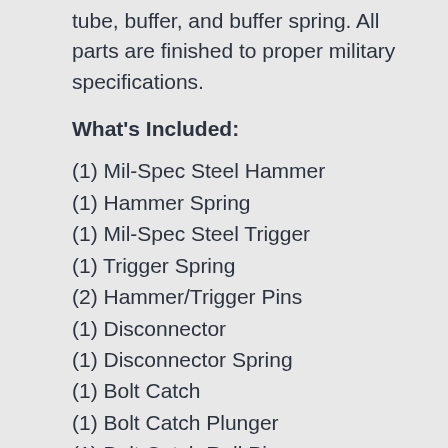tube, buffer, and buffer spring. All parts are finished to proper military specifications.
What's Included:
(1) Mil-Spec Steel Hammer
(1) Hammer Spring
(1) Mil-Spec Steel Trigger
(1) Trigger Spring
(2) Hammer/Trigger Pins
(1) Disconnector
(1) Disconnector Spring
(1) Bolt Catch
(1) Bolt Catch Plunger
(1) Bolt Catch Roll Pin
(1) Bolt Catch Spring
(1) Buffer Retainer